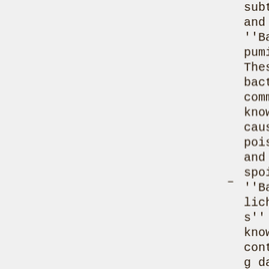subtilis and ''Bacillus pumilus''. These bacteria are commonly known to cause food poisoning and food spoilage. ''Bacillus licheniformis'' also is known for contaminating dairy products. Food borne outbreaks usually